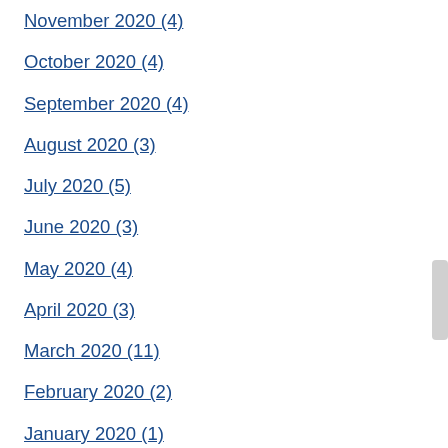November 2020 (4)
October 2020 (4)
September 2020 (4)
August 2020 (3)
July 2020 (5)
June 2020 (3)
May 2020 (4)
April 2020 (3)
March 2020 (11)
February 2020 (2)
January 2020 (1)
December 2019 (1)
November 2019 (3)